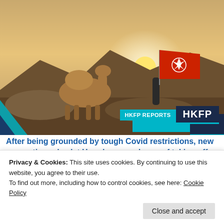[Figure (photo): A person holding a Hong Kong flag next to a camel in a desert landscape at sunset, with mountains in the background. HKFP REPORTS / HKFP badge overlay in bottom right.]
After being grounded by tough Covid restrictions, new quarantine rules let Hongkongers dream of taking off again
[Figure (photo): Row of three thumbnail images: a person portrait, a masked person in grey, and a row of books.]
Privacy & Cookies: This site uses cookies. By continuing to use this website, you agree to their use.
To find out more, including how to control cookies, see here: Cookie Policy
Close and accept